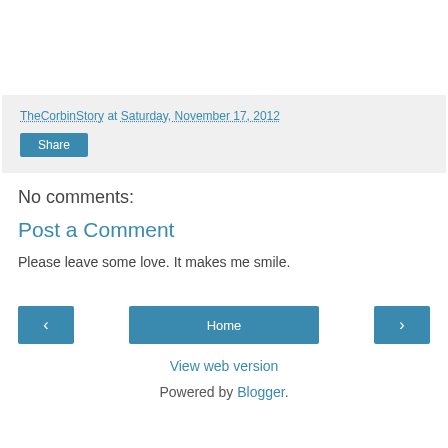TheCorbinStory at Saturday, November 17, 2012
Share
No comments:
Post a Comment
Please leave some love. It makes me smile.
‹ Home ›
View web version
Powered by Blogger.